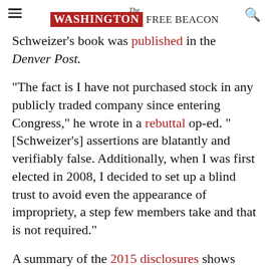The Washington Free Beacon
Schweizer's book was published in the Denver Post.
"The fact is I have not purchased stock in any publicly traded company since entering Congress," he wrote in a rebuttal op-ed. "[Schweizer's] assertions are blatantly and verifiably false. Additionally, when I was first elected in 2008, I decided to set up a blind trust to avoid even the appearance of impropriety, a step few members take and that is not required."
A summary of the 2015 disclosures shows Polis listing assets for a blind trust in the range of $25 to $50 million. However, based on estimates